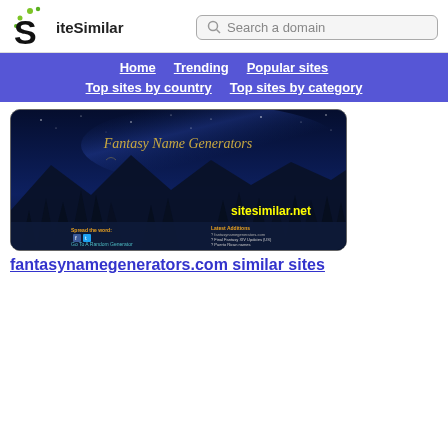[Figure (logo): SiteSimilar logo with stylized S and green dots, plus search bar]
Home   Trending   Popular sites   Top sites by country   Top sites by category
[Figure (screenshot): Screenshot of fantasynamegenerators.com showing fantasy themed dark night sky with trees silhouette and site name, plus sitesimilar.net watermark]
fantasynamegenerators.com similar sites